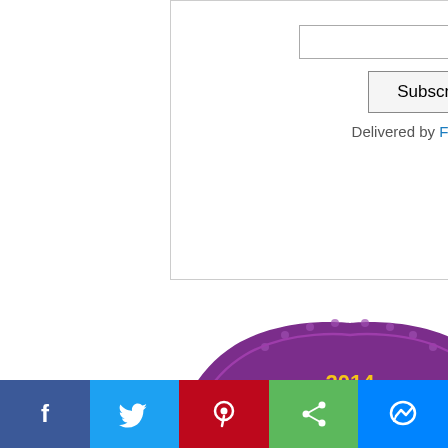[Figure (other): Email subscribe box with text input and Subscribe button, Delivered by FeedBurner link]
[Figure (logo): 2014 Parents Social Media Awards - best on Twitter finalist badge (purple shield shape with yellow and white text)]
I'm so fancy!!
[Figure (other): Partial card/badge visible at bottom of left column]
having was d there:
Prepa
was g about bare b child's cleava really what t phase
There' wome you d inclus stuff I people
Click h
[Figure (other): Social sharing bar with Facebook, Twitter, Pinterest, Share, and Messenger buttons]